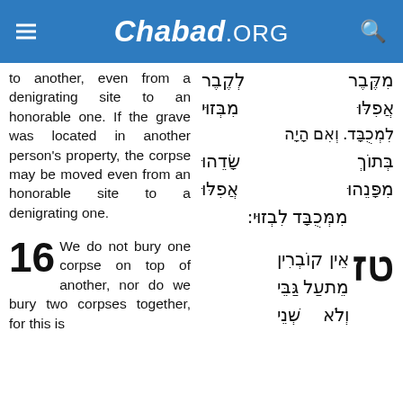Chabad.ORG
to another, even from a denigrating site to an honorable one. If the grave was located in another person's property, the corpse may be moved even from an honorable site to a denigrating one.
מִקֶּבֶר לְקֶבֶר אֲפִלּוּ מִבְּזוּי לִמְכֻבָּד. וְאִם הָיָה בְּתוֹךְ שָׂדֵהוּ מִפָּנֵהוּ אֲפִלּוּ מִמְּכֻבָּד לִבְזוּי:
16 We do not bury one corpse on top of another, nor do we bury two corpses together, for this is
טז אֵין קוֹבְרִין מֵת עַל גַּבֵּי מֵת וְלֹא שְׁנֵי